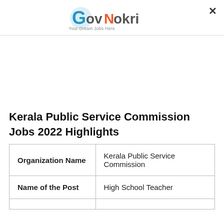[Figure (logo): GovNokri logo with tagline 'Search Your Dream Jobs Here']
Kerala Public Service Commission Jobs 2022 Highlights
| Organization Name | Kerala Public Service Commission |
| Name of the Post | High School Teacher |
|  |  |